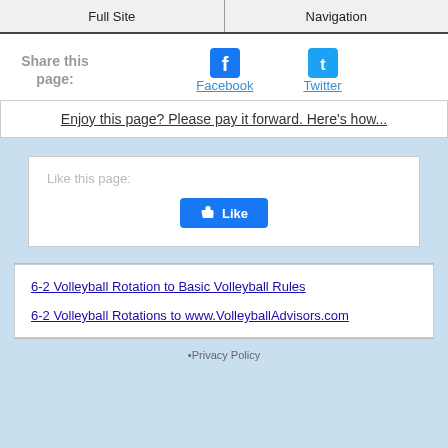Full Site | Navigation
Share this page:
Facebook
Twitter
Enjoy this page? Please pay it forward. Here's how...
Like this page:
Like
6-2 Volleyball Rotation to Basic Volleyball Rules
6-2 Volleyball Rotations to www.VolleyballAdvisors.com
•Privacy Policy